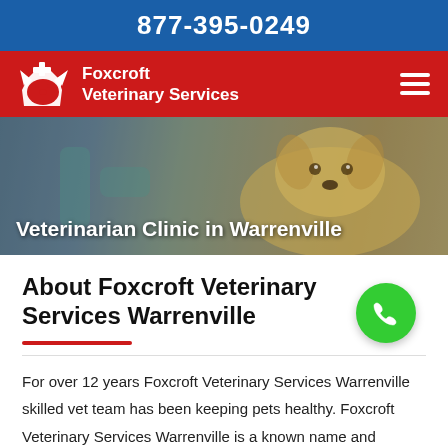877-395-0249
[Figure (logo): Foxcroft Veterinary Services logo — white dog/cat silhouette with plus sign on red background, text reads Foxcroft Veterinary Services]
[Figure (photo): Hero background photo of a golden Labrador puppy being examined by a veterinarian in scrubs]
Veterinarian Clinic in Warrenville
About Foxcroft Veterinary Services Warrenville
For over 12 years Foxcroft Veterinary Services Warrenville skilled vet team has been keeping pets healthy. Foxcroft Veterinary Services Warrenville is a known name and acclaimed for its